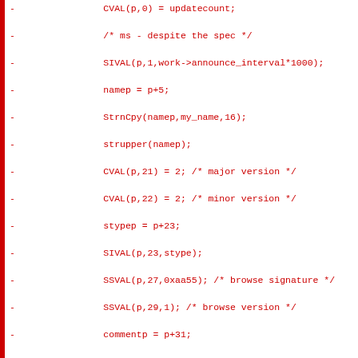[Figure (screenshot): Source code diff showing deleted lines (marked with '-') in red monospace font on white background with a red vertical bar on the left. The code is C/C++ showing network announce packet construction.]